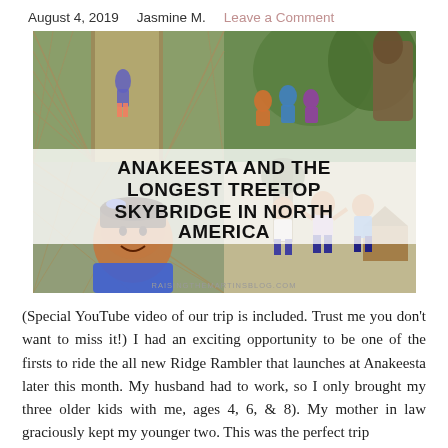August 4, 2019   Jasmine M.   Leave a Comment
[Figure (photo): Collage of family photos at Anakeesta with text overlay reading 'Anakeesta and the Longest Treetop Skybridge in North America' and watermark raisingthemartinsblog.com]
(Special YouTube video of our trip is included. Trust me you don't want to miss it!) I had an exciting opportunity to be one of the firsts to ride the all new Ridge Rambler that launches at Anakeesta later this month. My husband had to work, so I only brought my three older kids with me, ages 4, 6, & 8). My mother in law graciously kept my younger two. This was the perfect trip